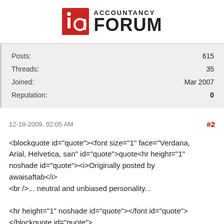[Figure (logo): Accountancy Forum logo with red 'ia' icon and bold FORUM text]
| Field | Value |
| --- | --- |
| Posts: | 615 |
| Threads: | 35 |
| Joined: | Mar 2007 |
| Reputation: | 0 |
12-18-2009, 02:05 AM   #2
<blockquote id="quote"><font size="1" face="Verdana, Arial, Helvetica, san" id="quote">quote<hr height="1" noshade id="quote"><i>Originally posted by awaisaftab</i>
<br />... neutral and unbiased personality...

<hr height="1" noshade id="quote"></font id="quote">
</blockquote id="quote">